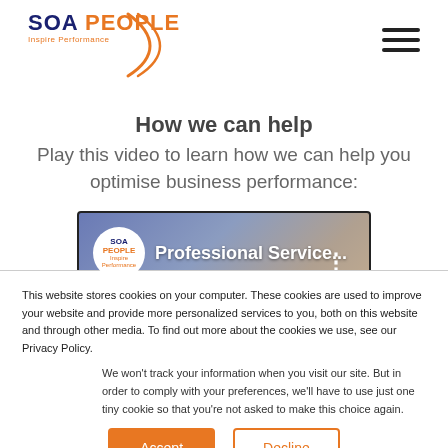SOA PEOPLE — Inspire Performance
How we can help
Play this video to learn how we can help you optimise business performance:
[Figure (screenshot): Video thumbnail showing SOA People logo and text 'Professional Service...' with a three-dot menu icon on a blended background]
This website stores cookies on your computer. These cookies are used to improve your website and provide more personalized services to you, both on this website and through other media. To find out more about the cookies we use, see our Privacy Policy.
We won't track your information when you visit our site. But in order to comply with your preferences, we'll have to use just one tiny cookie so that you're not asked to make this choice again.